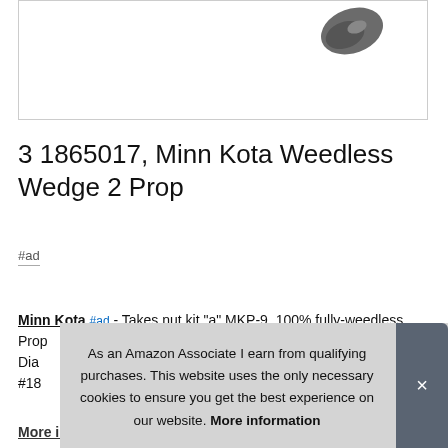[Figure (photo): Product image of Minn Kota Weedless Wedge 2 Prop, showing a dark grey propeller blade shape in the upper right of the image box]
3 1865017, Minn Kota Weedless Wedge 2 Prop
#ad
Minn Kota #ad - Takes nut kit "a" MKP-9. 100% fully-weedless Prop... Dia... #18...
As an Amazon Associate I earn from qualifying purchases. This website uses the only necessary cookies to ensure you get the best experience on our website. More information
More information #ad